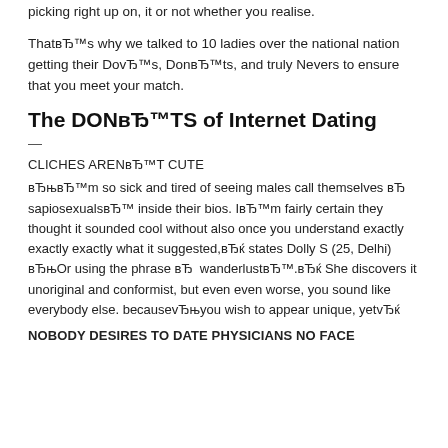picking right up on, it or not whether you realise.
ThatвЂ™s why we talked to 10 ladies over the national nation getting their DovЂ™s, DonвЂ™ts, and truly Nevers to ensure that you meet your match.
The DONвЂ™TS of Internet Dating
—
CLICHES ARENвЂ™T CUTE
вЂњвЂ™m so sick and tired of seeing males call themselves вЂ  sapiosexualsвЂ™ inside their bios. IвЂ™m fairly certain they thought it sounded cool without also once you understand exactly exactly exactly what it suggested,вЂќ states Dolly S (25, Delhi) вЂњOr using the phrase вЂ  wanderlustвЂ™.вЂќ She discovers it unoriginal and conformist, but even even worse, you sound like everybody else. becausevЂњyou wish to appear unique, yetvЂќ
NOBODY DESIRES TO DATE PHYSICIANS NO FACE